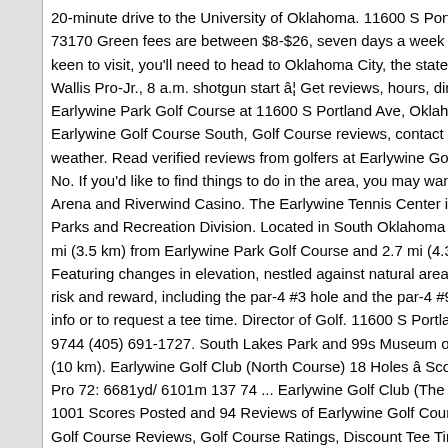20-minute drive to the University of Oklahoma. 11600 S Portland Ave 73170 Green fees are between $8-$26, seven days a week 0 from 0 keen to visit, you'll need to head to Oklahoma City, the state capital. Wallis Pro-Jr., 8 a.m. shotgun start â¦ Get reviews, hours, directions Earlywine Park Golf Course at 11600 S Portland Ave, Oklahoma City Earlywine Golf Course South, Golf Course reviews, contact informat weather. Read verified reviews from golfers at Earlywine Golf Club - No. If you'd like to find things to do in the area, you may want to che Arena and Riverwind Casino. The Earlywine Tennis Center is part of Parks and Recreation Division. Located in South Oklahoma City, this mi (3.5 km) from Earlywine Park Golf Course and 2.7 mi (4.3 km) fro Featuring changes in elevation, nestled against natural areas, the N risk and reward, including the par-4 #3 hole and the par-4 #9 hole. V info or to request a tee time. Director of Golf. 11600 S Portland Ave, 9744 (405) 691-1727. South Lakes Park and 99s Museum of Womer (10 km). Earlywine Golf Club (North Course) 18 Holes âScore Pro 72: 6681yd/ 6101m 137 74 ... Earlywine Golf Club (The Lakes) C 1001 Scores Posted and 94 Reviews of Earlywine Golf Course â C Golf Course Reviews, Golf Course Ratings, Discount Tee Times, Dir Contact and More. PGA Professionals. Earlywine has numerous ten